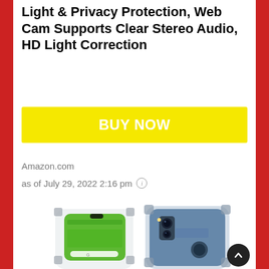Light & Privacy Protection, Web Cam Supports Clear Stereo Audio, HD Light Correction
BUY NOW
Amazon.com
as of July 29, 2022 2:16 pm
[Figure (photo): Product photo showing a Nokia smartphone with a clear protective case, front and back views displayed side by side]